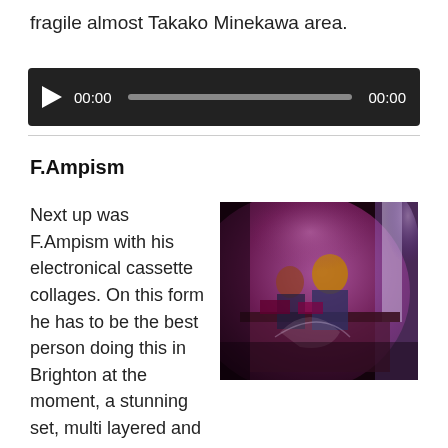fragile almost Takako Minekawa area.
[Figure (screenshot): Audio player widget with dark background, play button, time display 00:00 on left and right, and progress bar in the middle.]
F.Ampism
[Figure (photo): Live performance photo showing a musician working at a table with equipment under purple/pink stage lighting, blurred motion effect.]
Next up was F.Ampism with his electronical cassette collages. On this form he has to be the best person doing this in Brighton at the moment, a stunning set, multi layered and constantly moving, there were some really interesting textures; voices, percussion, and an urgency – no sitting back and letting